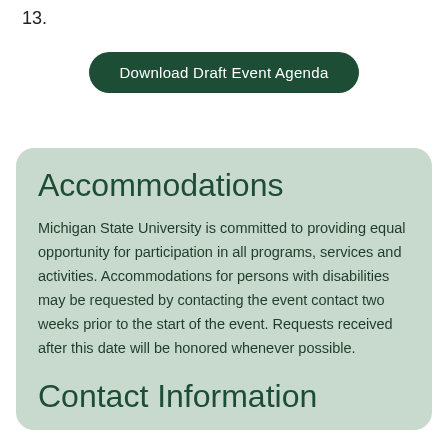13.
[Figure (other): Dark green rounded button labeled 'Download Draft Event Agenda']
Accommodations
Michigan State University is committed to providing equal opportunity for participation in all programs, services and activities. Accommodations for persons with disabilities may be requested by contacting the event contact two weeks prior to the start of the event. Requests received after this date will be honored whenever possible.
Contact Information